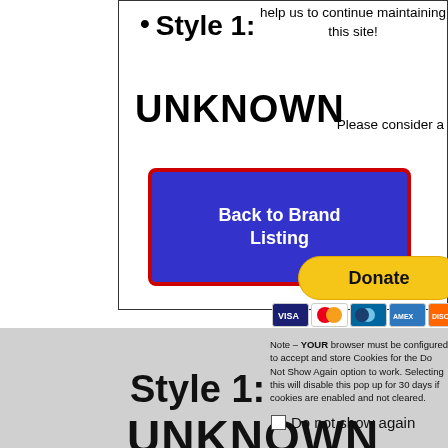help us to continue maintaining this site!
Please consider a donation.
Style 1: UNKNOWN
[Figure (screenshot): Blue button with red border reading 'Back to Brand Listing']
[Figure (screenshot): Yellow PayPal Donate button]
[Figure (screenshot): Payment method icons: Visa, Mastercard, and others]
Note – YOUR browser must be configured to accept and store Cookies for the Do Not Show Again option to work. Selecting this will disable this pop up for 30 days if cookies are enabled and not cleared.
Style 1: UNKNOWN
Do not show again